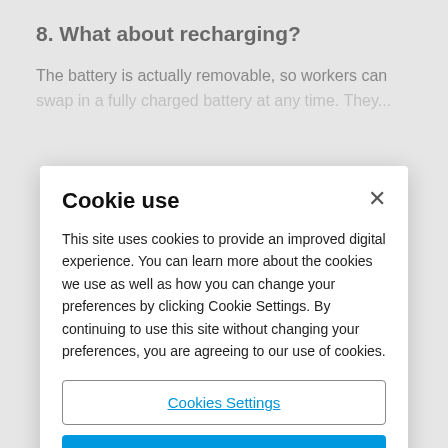8. What about recharging?
The battery is actually removable, so workers can swap in a fully charged battery at any time. They...
Cookie use
This site uses cookies to provide an improved digital experience. You can learn more about the cookies we use as well as how you can change your preferences by clicking Cookie Settings. By continuing to use this site without changing your preferences, you are agreeing to our use of cookies.
Cookies Settings
Reject All
Accept Cookies